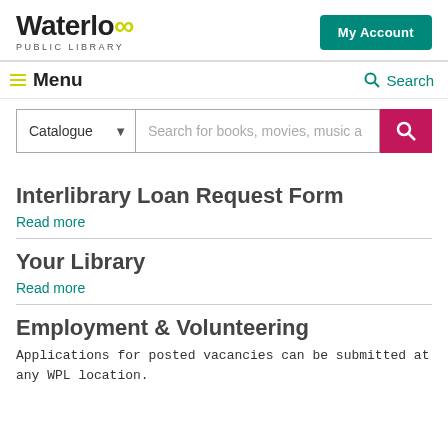[Figure (logo): Waterloo Public Library logo with infinity symbol]
My Account
Menu | Search
Catalogue  Search for books, movies, music a
Interlibrary Loan Request Form
Read more
Your Library
Read more
Employment & Volunteering
Applications for posted vacancies can be submitted at any WPL location.